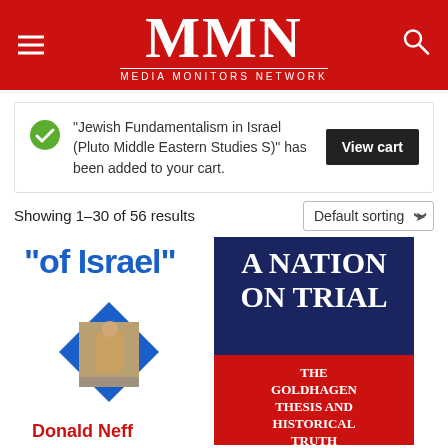[Figure (logo): MMN Media Monitors Network logo on red header with hamburger menu and search icon]
"Jewish Fundamentalism in Israel (Pluto Middle Eastern Studies S)" has been added to your cart.
View cart
Showing 1–30 of 56 results
Default sorting
[Figure (photo): Book cover for '50 Years of Israel' by Donald Neff - shows blue Star of David shape with a photo of a child in rubble, blue text 'of Israel' at top, red text 'Donald Neff' at bottom]
[Figure (photo): Book cover for 'A Nation on Trial: The Goldhagen Thesis and Historical Truth' - dark blue top with white text 'A NATION ON TRIAL', red bottom section with white text 'THE GOLDHAGEN THESIS AND HISTORICAL TRUTH']
50 Years of Israel
A Nation on Trial: The